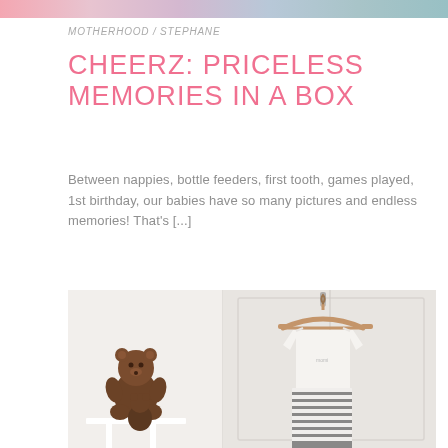[Figure (photo): Decorative top banner with soft gradient colors: pink, mauve, blue-grey, teal]
MOTHERHOOD / STEPHANE
CHEERZ: PRICELESS MEMORIES IN A BOX
Between nappies, bottle feeders, first tooth, games played, 1st birthday, our babies have so many pictures and endless memories! That's [...]
[Figure (photo): A styled nursery photo showing a wooden bear figurine on a small white table on the left, and white baby clothing (bodysuit and striped garment) hanging on a wooden hanger against a white paneled door on the right]